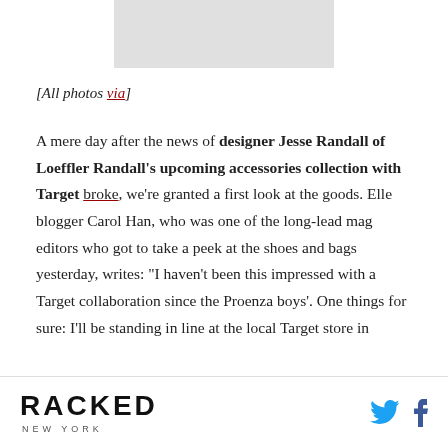[Figure (photo): Gray placeholder image at top of page]
[All photos via]
A mere day after the news of designer Jesse Randall of Loeffler Randall's upcoming accessories collection with Target broke, we're granted a first look at the goods. Elle blogger Carol Han, who was one of the long-lead mag editors who got to take a peek at the shoes and bags yesterday, writes: "I haven't been this impressed with a Target collaboration since the Proenza boys'. One things for sure: I'll be standing in line at the local Target store in
RACKED NEW YORK